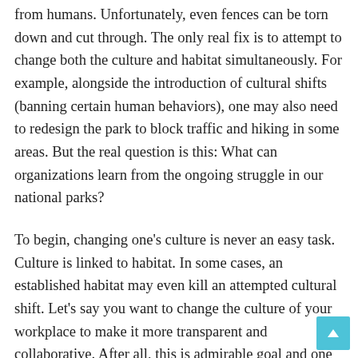from humans. Unfortunately, even fences can be torn down and cut through. The only real fix is to attempt to change both the culture and habitat simultaneously. For example, alongside the introduction of cultural shifts (banning certain human behaviors), one may also need to redesign the park to block traffic and hiking in some areas. But the real question is this: What can organizations learn from the ongoing struggle in our national parks?
To begin, changing one's culture is never an easy task. Culture is linked to habitat. In some cases, an established habitat may even kill an attempted cultural shift. Let's say you want to change the culture of your workplace to make it more transparent and collaborative. After all, this is admirable goal and one that is consistently linked higher employee morale, lower employee turnover and higher rates of